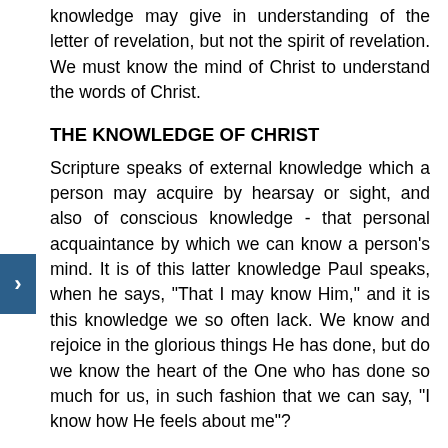knowledge may give in understanding of the letter of revelation, but not the spirit of revelation. We must know the mind of Christ to understand the words of Christ.
THE KNOWLEDGE OF CHRIST
Scripture speaks of external knowledge which a person may acquire by hearsay or sight, and also of conscious knowledge - that personal acquaintance by which we can know a person's mind. It is of this latter knowledge Paul speaks, when he says, "That I may know Him," and it is this knowledge we so often lack. We know and rejoice in the glorious things He has done, but do we know the heart of the One who has done so much for us, in such fashion that we can say, "I know how He feels about me"?
THE LACK OF CONFIDENCE
The lack of true knowledge of Joseph's heart, and the consequent lack of confidence in Joseph is revealed in the message that his brethren sent to him. And worse, they attempt to hide their own unbelief and mistrust of Joseph, by pretending they are only carrying out the